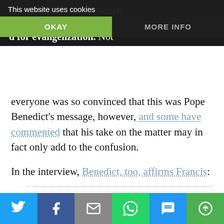This website uses cookies | OKAY | MORE INFO
...Ecclesiam Nulla Salus, which ...rast to the present papacy, ...d for evangelization. Not everyone was so convinced that this was Pope Benedict's message, however, and some have commented that his take on the matter may in fact only add to the confusion.
In the interview, Benedict, too, affirms Francis:
“Pope Francis is totally in accord with this line: his pastoral practice expresses itself precisely through the fact that he continually